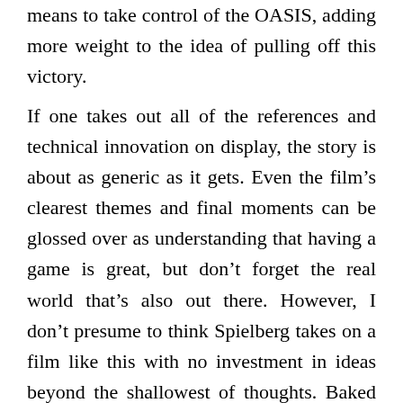means to take control of the OASIS, adding more weight to the idea of pulling off this victory.
If one takes out all of the references and technical innovation on display, the story is about as generic as it gets. Even the film's clearest themes and final moments can be glossed over as understanding that having a game is great, but don't forget the real world that's also out there. However, I don't presume to think Spielberg takes on a film like this with no investment in ideas beyond the shallowest of thoughts. Baked into a film that packs in a simultaneous level of wonder and eye-rolling thanks to the deployment of so many pop culture references is an undercurrent of heart-